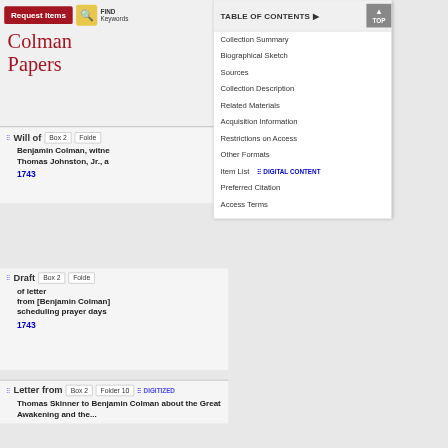[Figure (screenshot): Screenshot of an archival finding aid website (Colman Papers) showing a navigation top bar with 'Request Items' button, find/keyword search icon, and a table of contents dropdown overlay listing sections: Collection Summary, Biographical Sketch, Sources, Collection Description, Related Materials, Acquisition Information, Restrictions on Access, Other Formats, Item List with DIGITAL CONTENT link, Preferred Citation, Access Terms. Left side shows title 'Colman Papers' in red serif font, and item listings for 'Will of Benjamin Colman' (Box 2), 'Draft of letter from [Benjamin Colman] scheduling prayer days' (Box 2), and 'Letter from Thomas Skinner to Benjamin Colman about the Great Awakening' (Box 2, Folder 10, DIGITIZED). Items dated 1743.]